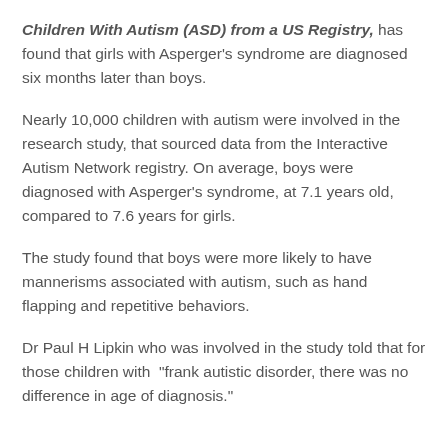Children With Autism (ASD) from a US Registry, has found that girls with Asperger's syndrome are diagnosed six months later than boys.
Nearly 10,000 children with autism were involved in the research study, that sourced data from the Interactive Autism Network registry. On average, boys were diagnosed with Asperger's syndrome, at 7.1 years old, compared to 7.6 years for girls.
The study found that boys were more likely to have mannerisms associated with autism, such as hand flapping and repetitive behaviors.
Dr Paul H Lipkin who was involved in the study told that for those children with “frank autistic disorder, there was no difference in age of diagnosis.”